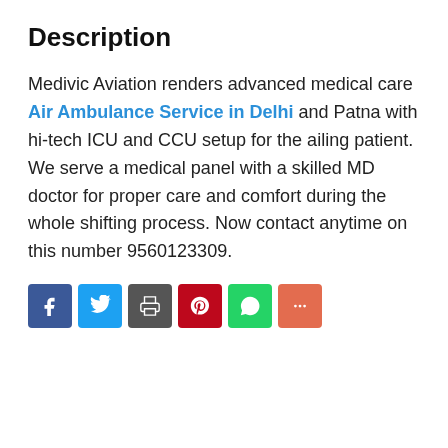Description
Medivic Aviation renders advanced medical care Air Ambulance Service in Delhi and Patna with hi-tech ICU and CCU setup for the ailing patient. We serve a medical panel with a skilled MD doctor for proper care and comfort during the whole shifting process. Now contact anytime on this number 9560123309.
[Figure (other): Social sharing buttons: Facebook, Twitter, Print, Pinterest, WhatsApp, More]